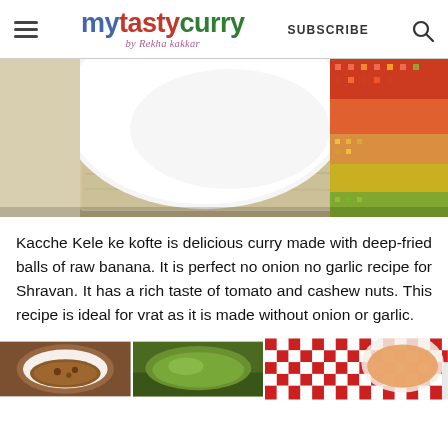mytastycurry by Rekha kakkar — SUBSCRIBE
[Figure (photo): Top-down view of a white bowl on a wooden surface with colorful patterned cloth/towel on the right side]
Kacche Kele ke kofte is delicious curry made with deep-fried balls of raw banana. It is perfect no onion no garlic recipe for Shravan. It has a rich taste of tomato and cashew nuts. This recipe is ideal for vrat as it is made without onion or garlic.
[Figure (photo): Row of food photos at bottom: two smaller photos on left (brown curry/stew, green dish) and one larger photo on right with red checkered cloth/background]